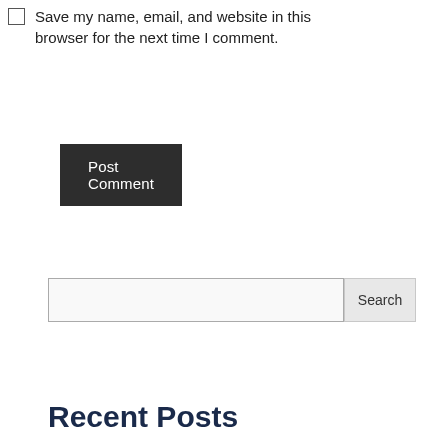Save my name, email, and website in this browser for the next time I comment.
Post Comment
Search
Recent Posts